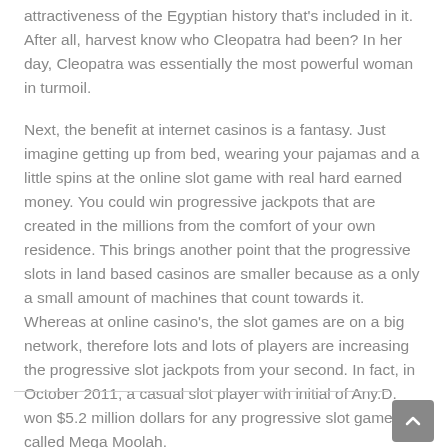attractiveness of the Egyptian history that's included in it. After all, harvest know who Cleopatra had been? In her day, Cleopatra was essentially the most powerful woman in turmoil.
Next, the benefit at internet casinos is a fantasy. Just imagine getting up from bed, wearing your pajamas and a little spins at the online slot game with real hard earned money. You could win progressive jackpots that are created in the millions from the comfort of your own residence. This brings another point that the progressive slots in land based casinos are smaller because as a only a small amount of machines that count towards it. Whereas at online casino's, the slot games are on a big network, therefore lots and lots of players are increasing the progressive slot jackpots from your second. In fact, in October 2011, a casual slot player with initial of Any.D. won $5.2 million dollars for any progressive slot game called Mega Moolah.